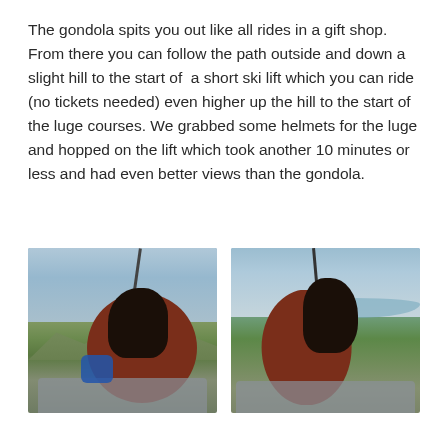The gondola spits you out like all rides in a gift shop. From there you can follow the path outside and down a slight hill to the start of a short ski lift which you can ride (no tickets needed) even higher up the hill to the start of the luge courses. We grabbed some helmets for the luge and hopped on the lift which took another 10 minutes or less and had even better views than the gondola.
[Figure (photo): Woman in a red jacket sitting on a ski lift, looking to the right, with green mountain slopes and cloudy sky in the background.]
[Figure (photo): Woman in a red jacket sitting on a ski lift viewed from behind/side, with a lake and mountains visible in the background under a cloudy sky.]